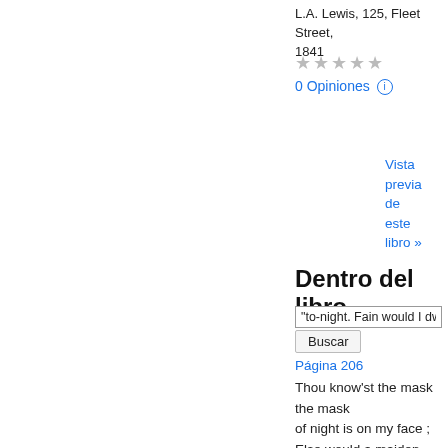L.A. Lewis, 125, Fleet Street, 1841
★★★★★
0 Opiniones ℹ
Vista previa de este libro »
Dentro del libro
"to-night. Fain would I dwel
Buscar
Página 206
Thou know'st the mask of night is on my face ; Else would a maiden blush bepaint my cheek , For that which thou hast heard me speak to